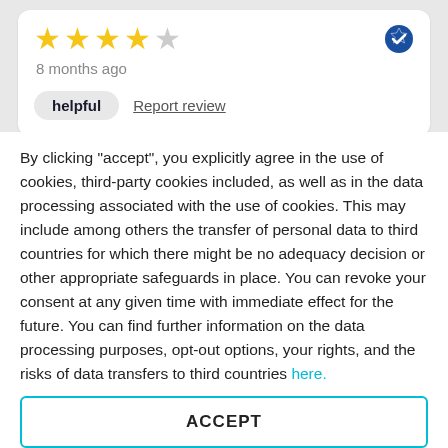[Figure (other): Review card with 4 out of 5 stars rating, verified badge, '8 months ago' timestamp, helpful button and report review link]
8 months ago
helpful
Report review
[Figure (other): Review card with 4 out of 5 stars rating, verified badge, '9 months ago' timestamp]
9 months ago
By clicking "accept", you explicitly agree in the use of cookies, third-party cookies included, as well as in the data processing associated with the use of cookies. This may include among others the transfer of personal data to third countries for which there might be no adequacy decision or other appropriate safeguards in place. You can revoke your consent at any given time with immediate effect for the future. You can find further information on the data processing purposes, opt-out options, your rights, and the risks of data transfers to third countries here.
ACCEPT